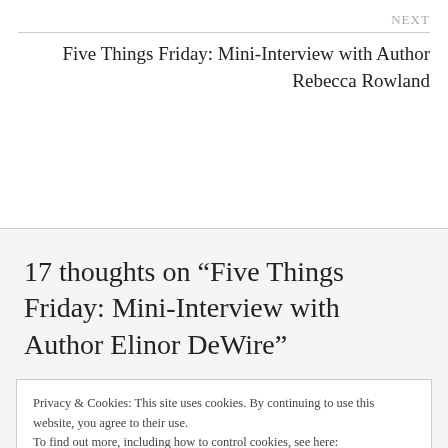NEXT
Five Things Friday: Mini-Interview with Author Rebecca Rowland
17 thoughts on “Five Things Friday: Mini-Interview with Author Elinor DeWire”
Privacy & Cookies: This site uses cookies. By continuing to use this website, you agree to their use.
To find out more, including how to control cookies, see here: Cookie Policy
Close and accept
Lighthouses and ghosts